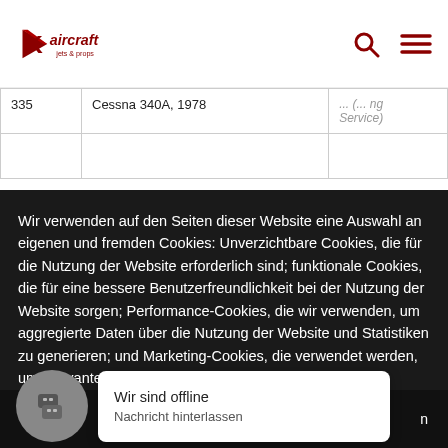[Figure (logo): K-aircraft Jets & Props logo with red triangle/arrow shape and text]
| 335 | Cessna 340A, 1978 | (... Service) |
Wir verwenden auf den Seiten dieser Website eine Auswahl an eigenen und fremden Cookies: Unverzichtbare Cookies, die für die Nutzung der Website erforderlich sind; funktionale Cookies, die für eine bessere Benutzerfreundlichkeit bei der Nutzung der Website sorgen; Performance-Cookies, die wir verwenden, um aggregierte Daten über die Nutzung der Website und Statistiken zu generieren; und Marketing-Cookies, die verwendet werden, um relevante Inhalte und Werbung
Alles verweigern
Alle akzeptieren
Wir sind offline
Nachricht hinterlassen